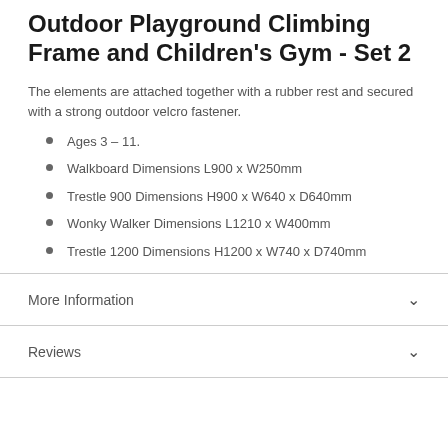Outdoor Playground Climbing Frame and Children's Gym - Set 2
The elements are attached together with a rubber rest and secured with a strong outdoor velcro fastener.
Ages 3 – 11.
Walkboard Dimensions L900 x W250mm
Trestle 900 Dimensions H900 x W640 x D640mm
Wonky Walker Dimensions L1210 x W400mm
Trestle 1200 Dimensions H1200 x W740 x D740mm
More Information
Reviews